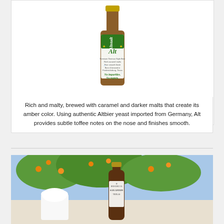[Figure (photo): Altstadt Alt beer bottle with green and white label reading 'Altstadt Alt' with text 'No impurities. No regrets.']
Rich and malty, brewed with caramel and darker malts that create its amber color. Using authentic Altbier yeast imported from Germany, Alt provides subtle toffee notes on the nose and finishes smooth.
[Figure (photo): Outdoor photo of a beer bottle labeled 'Brewed in San Antonio, Texas' with a foamy glass of beer, orange trees in background]